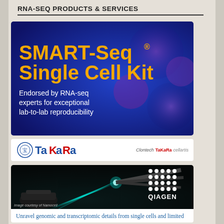RNA-SEQ PRODUCTS & SERVICES
[Figure (photo): SMART-Seq Single Cell Kit advertisement by TaKaRa with blue background and cell imagery. Text: SMART-Seq® Single Cell Kit. Endorsed by RNA-seq experts for exceptional lab-to-lab reproducibility.]
[Figure (logo): TaKaRa logo bar with circle emblem on left and 'Clontech TaKaRa cellartis' brand names on right]
[Figure (photo): QIAGEN advertisement with dark background, teal laser light streaks, lab equipment and QIAGEN logo with white dot grid. Caption: Image courtesy of Namocell]
Unravel genomic and transcriptomic details from single cells and limited